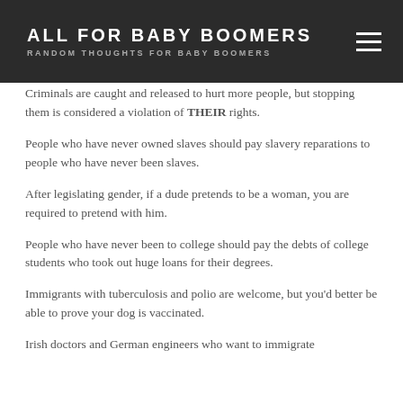ALL FOR BABY BOOMERS — RANDOM THOUGHTS FOR BABY BOOMERS
Criminals are caught and released to hurt more people, but stopping them is considered a violation of THEIR rights.
People who have never owned slaves should pay slavery reparations to people who have never been slaves.
After legislating gender, if a dude pretends to be a woman, you are required to pretend with him.
People who have never been to college should pay the debts of college students who took out huge loans for their degrees.
Immigrants with tuberculosis and polio are welcome, but you'd better be able to prove your dog is vaccinated.
Irish doctors and German engineers who want to immigrate